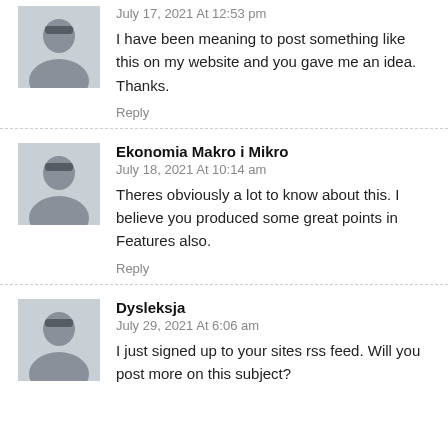July 17, 2021 At 12:53 pm
I have been meaning to post something like this on my website and you gave me an idea. Thanks.
Reply
Ekonomia Makro i Mikro
July 18, 2021 At 10:14 am
Theres obviously a lot to know about this. I believe you produced some great points in Features also.
Reply
Dysleksja
July 29, 2021 At 6:06 am
I just signed up to your sites rss feed. Will you post more on this subject?